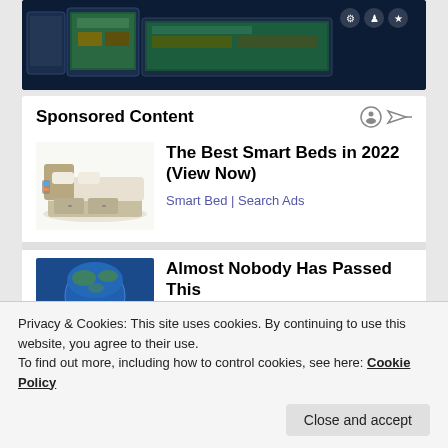[Figure (screenshot): Game advertisement banner showing mobile and tablet gaming screens with strategy game content on a dark blue background]
Sponsored Content
[Figure (photo): Smart bed product photo showing a modern multifunctional bed with storage and tech features]
The Best Smart Beds in 2022 (View Now)
Smart Bed | Search Ads
[Figure (photo): Globe/earth image with blue background for quiz advertisement]
Almost Nobody Has Passed This
Privacy & Cookies: This site uses cookies. By continuing to use this website, you agree to their use.
To find out more, including how to control cookies, see here: Cookie Policy
Close and accept